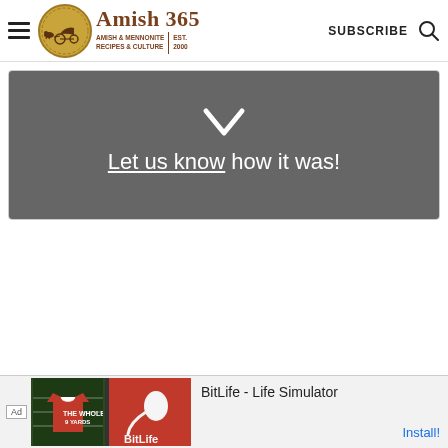Amish 365 - AMISH & MENNONITE RECIPES & CULTURE | EST. 2000 | SUBSCRIBE
[Figure (screenshot): Dark grey banner with a white downward chevron/checkmark icon and text reading 'Let us know how it was!']
[Figure (screenshot): Advertisement banner for BitLife - Life Simulator app with ad imagery and Install button]